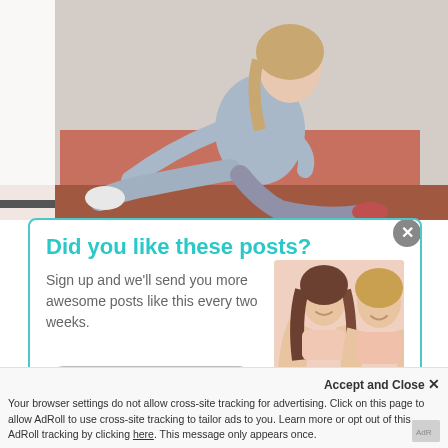[Figure (photo): Woman in grey athletic wear doing a seated stretch/yoga pose on an orange mat, reaching toward her foot. Studio background.]
Did you like these posts?
Sign up and we'll send you more awesome posts like this every two weeks.
[Figure (photo): Two smiling women in beige/nude sports bras posing together.]
Enter email address here
Accept and Close ×
Your browser settings do not allow cross-site tracking for advertising. Click on this page to allow AdRoll to use cross-site tracking to tailor ads to you. Learn more or opt out of this AdRoll tracking by clicking here. This message only appears once.